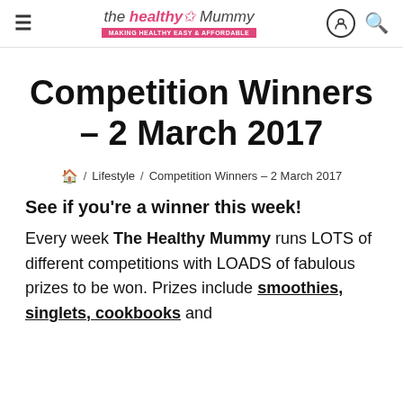≡  the healthy Mummy  Making healthy EASY & AFFORDABLE  [account icon] [search icon]
Competition Winners – 2 March 2017
🏠 / Lifestyle / Competition Winners – 2 March 2017
See if you're a winner this week!
Every week The Healthy Mummy runs LOTS of different competitions with LOADS of fabulous prizes to be won. Prizes include smoothies, singlets, cookbooks and